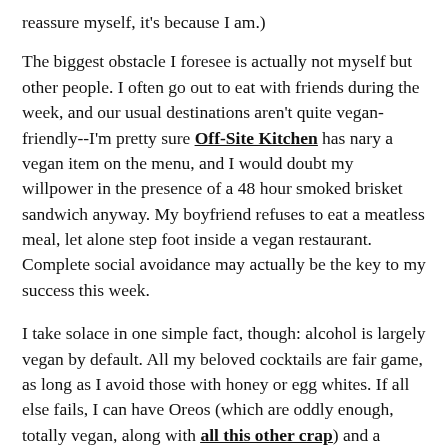reassure myself, it's because I am.)
The biggest obstacle I foresee is actually not myself but other people. I often go out to eat with friends during the week, and our usual destinations aren't quite vegan-friendly--I'm pretty sure Off-Site Kitchen has nary a vegan item on the menu, and I would doubt my willpower in the presence of a 48 hour smoked brisket sandwich anyway. My boyfriend refuses to eat a meatless meal, let alone step foot inside a vegan restaurant. Complete social avoidance may actually be the key to my success this week.
I take solace in one simple fact, though: alcohol is largely vegan by default. All my beloved cocktails are fair game, as long as I avoid those with honey or egg whites. If all else fails, I can have Oreos (which are oddly enough, totally vegan, along with all this other crap) and a couple gin and tonics and call it a day.